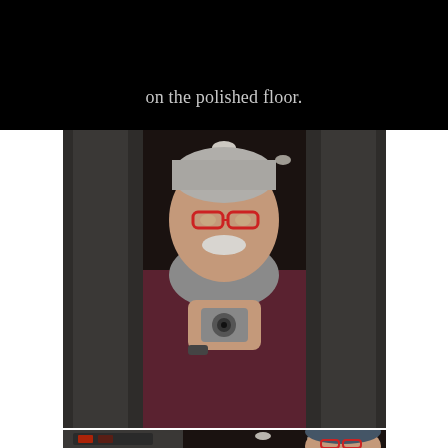on the polished floor.
[Figure (photo): An elderly man with a white mustache, red-framed glasses, grey scarf, and dark burgundy jacket takes a mirror selfie in an elevator, holding a small silver camera at chest height. Elevator metallic walls visible in background.]
[Figure (photo): Partial view of the same elderly man with red-framed glasses and a blue knit cap, visible from the chest up, in the same elevator setting with metallic elevator panel showing buttons.]